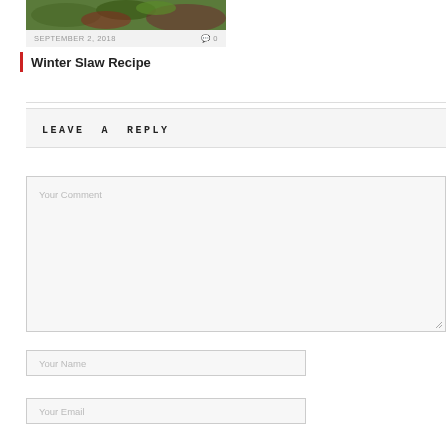[Figure (photo): Partial view of a food/salad photo at the top of the page, showing green and red leafy vegetables]
SEPTEMBER 2, 2018   0
Winter Slaw Recipe
LEAVE A REPLY
Your Comment
Your Name
Your Email